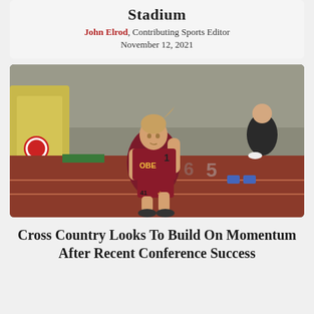Stadium
John Elrod, Contributing Sports Editor
November 12, 2021
[Figure (photo): Female runner in maroon Oberlin jersey competing on an indoor track, number 413, running in the foreground with other athletes and track equipment visible in background.]
Cross Country Looks To Build On Momentum After Recent Conference Success